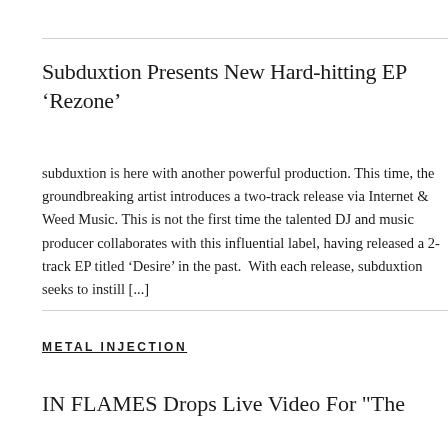Subduxtion Presents New Hard-hitting EP ‘Rezone’
subduxtion is here with another powerful production. This time, the groundbreaking artist introduces a two-track release via Internet & Weed Music. This is not the first time the talented DJ and music producer collaborates with this influential label, having released a 2-track EP titled ‘Desire’ in the past.  With each release, subduxtion seeks to instill [...]
METAL INJECTION
IN FLAMES Drops Live Video For "The